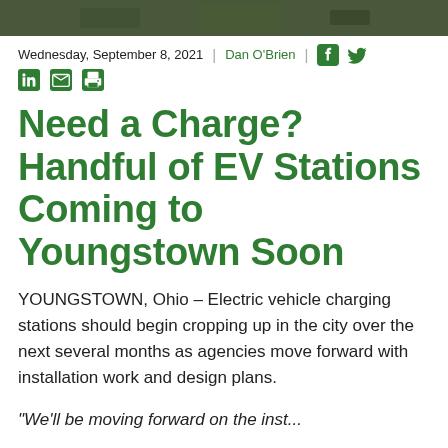[Figure (photo): Photo strip at top of article page, dark green/nature tones]
Wednesday, September 8, 2021 | Dan O'Brien | [Facebook icon] [Twitter icon] [LinkedIn icon] [Email icon] [Print icon]
Need a Charge? Handful of EV Stations Coming to Youngstown Soon
YOUNGSTOWN, Ohio – Electric vehicle charging stations should begin cropping up in the city over the next several months as agencies move forward with installation work and design plans.
"We'll be moving forward on the inst..."